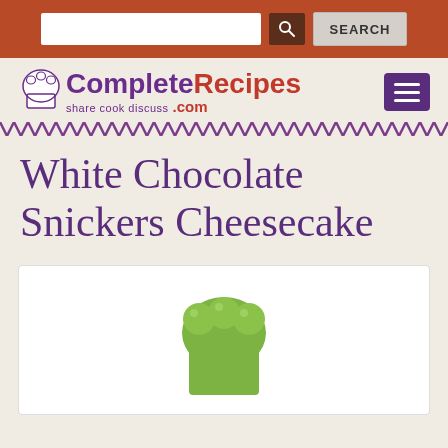Search bar with input and SEARCH button
[Figure (logo): CompleteRecipes.com logo with chef hat icon, tagline 'share cook discuss', and hamburger menu button]
White Chocolate Snickers Cheesecake
[Figure (illustration): White box with green chef hat icon placeholder image]